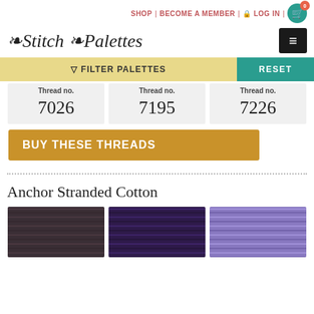SHOP | BECOME A MEMBER | LOG IN | 0
Stitch Palettes
FILTER PALETTES | RESET
| Thread no. | Thread no. | Thread no. |
| --- | --- | --- |
| 7026 | 7195 | 7226 |
BUY THESE THREADS
Anchor Stranded Cotton
[Figure (photo): Three skeins of Anchor Stranded Cotton thread: dark charcoal/black, deep purple, and light lavender/periwinkle purple]